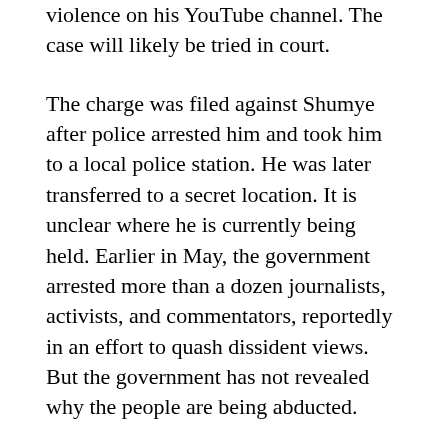violence on his YouTube channel. The case will likely be tried in court.
The charge was filed against Shumye after police arrested him and took him to a local police station. He was later transferred to a secret location. It is unclear where he is currently being held. Earlier in May, the government arrested more than a dozen journalists, activists, and commentators, reportedly in an effort to quash dissident views. But the government has not revealed why the people are being abducted.
Other recent arrests in Ethiopia have raised concerns in the international community. The Ethiopian Human Rights Commission, a state-affiliated human rights organization, said that a number of detainees were illegally arrested. In addition, many of those detained were not brought before a court or even allowed to